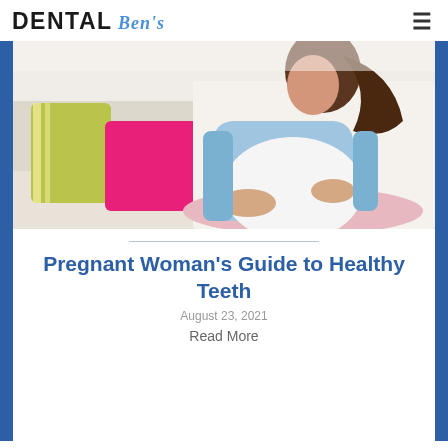DENTAL Ben's
[Figure (photo): Pregnant woman sitting cross-legged on a white sofa, wearing a light blue cardigan and pink pants, holding her belly. Colorful cushions (yellow-green and pink) are visible beside her.]
Pregnant Woman's Guide to Healthy Teeth
August 23, 2021
Read More